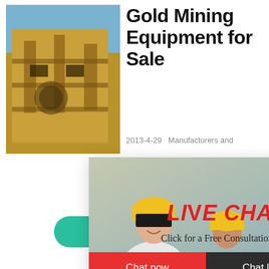[Figure (photo): Gold mining equipment machinery photo, industrial yellow structure]
Gold Mining Equipment for Sale
2013-4-29   Manufacturers and
[Figure (photo): Live Chat popup overlay with workers in yellow hard hats, showing LIVE CHAT header in red italic text, subtitle 'Click for a Free Consultation', Chat now and Chat later buttons]
boxes, micron gold classifiers, wash pla... recreational gold re... used mining equipm...
More
[Figure (photo): Right panel showing mining crusher machine with cyan/blue background, Click me to chat>> button, Enquiry heading, and partial email address]
hour online
Click me to chat>>
Enquiry
ouvaitml@email...